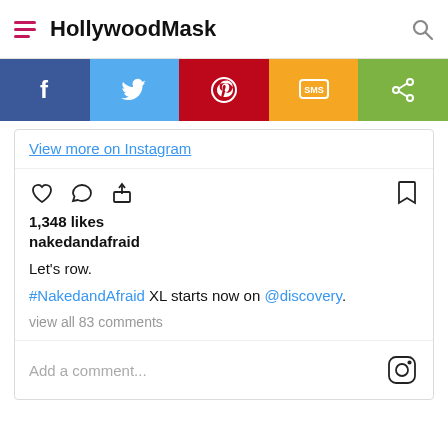HollywoodMask
[Figure (screenshot): Social share bar with Facebook, Twitter, Pinterest, SMS, and Share buttons]
View more on Instagram
1,348 likes
nakedandafraid
Let's row.
#NakedandAfraid XL starts now on @discovery.
view all 83 comments
Add a comment...